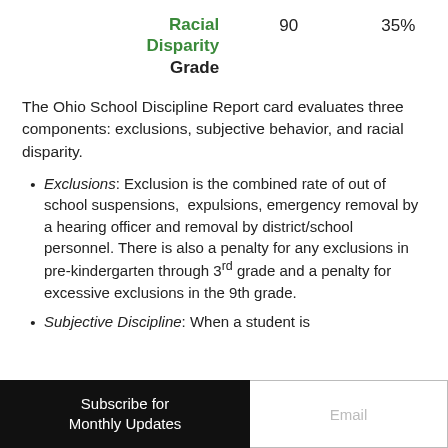|  |  |  |
| --- | --- | --- |
| Racial Disparity Grade | 90 | 35% |
The Ohio School Discipline Report card evaluates three components: exclusions, subjective behavior, and racial disparity.
Exclusions: Exclusion is the combined rate of out of school suspensions, expulsions, emergency removal by a hearing officer and removal by district/school personnel. There is also a penalty for any exclusions in pre-kindergarten through 3rd grade and a penalty for excessive exclusions in the 9th grade.
Subjective Discipline: When a student is
Subscribe for Monthly Updates  Email